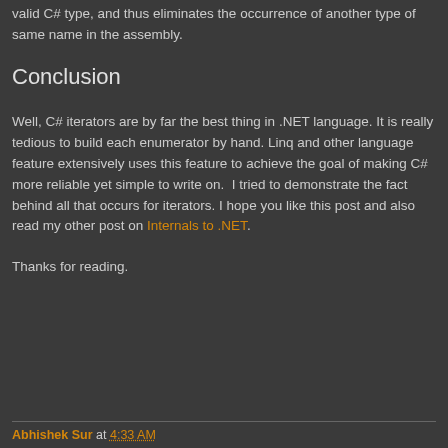valid C# type, and thus eliminates the occurrence of another type of same name in the assembly.
Conclusion
Well, C# iterators are by far the best thing in .NET language. It is really tedious to build each enumerator by hand. Linq and other language feature extensively uses this feature to achieve the goal of making C# more reliable yet simple to write on.  I tried to demonstrate the fact behind all that occurs for iterators. I hope you like this post and also read my other post on Internals to .NET.
Thanks for reading.
Abhishek Sur at 4:33 AM